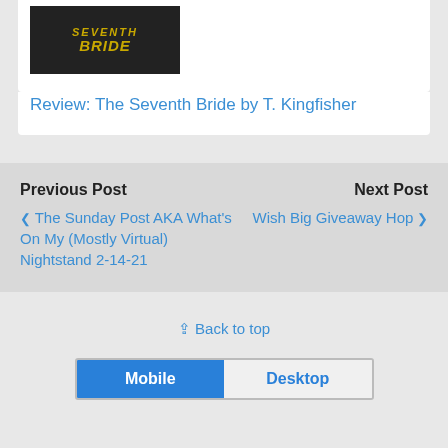[Figure (photo): Book cover thumbnail for 'The Seventh Bride' with gold stylized text on dark background]
Review: The Seventh Bride by T. Kingfisher
Previous Post
Next Post
❮ The Sunday Post AKA What's On My (Mostly Virtual) Nightstand 2-14-21
Wish Big Giveaway Hop ❯
⇪ Back to top
Mobile
Desktop